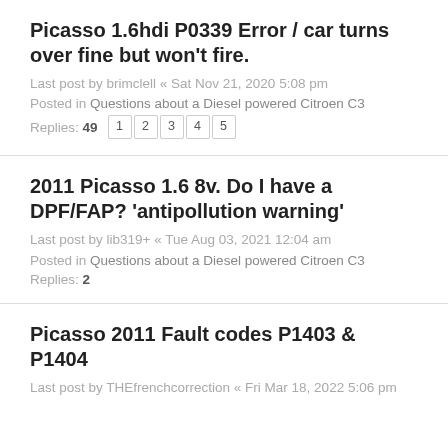Picasso 1.6hdi P0339 Error / car turns over fine but won't fire.
Last post by brimclell « Sat Nov 21, 2020 5:08 pm
Posted in Questions about a Diesel powered Citroen C3
Replies: 49
2011 Picasso 1.6 8v. Do I have a DPF/FAP? 'antipollution warning'
Last post by lib319+ « Tue Aug 03, 2021 12:04 am
Posted in Questions about a Diesel powered Citroen C3
Replies: 2
Picasso 2011 Fault codes P1403 & P1404
Last post by THEfrenchcorrection « Fri Mar 18, 2022 5:06 pm